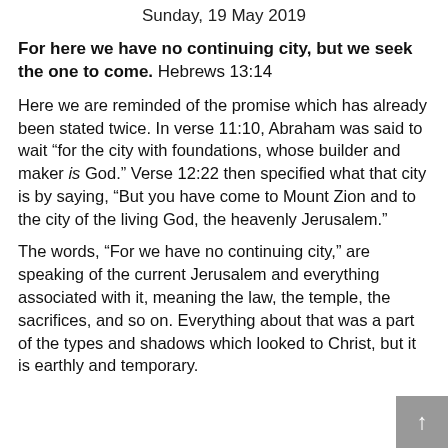Sunday, 19 May 2019
For here we have no continuing city, but we seek the one to come. Hebrews 13:14
Here we are reminded of the promise which has already been stated twice. In verse 11:10, Abraham was said to wait “for the city with foundations, whose builder and maker is God.” Verse 12:22 then specified what that city is by saying, “But you have come to Mount Zion and to the city of the living God, the heavenly Jerusalem.”
The words, “For we have no continuing city,” are speaking of the current Jerusalem and everything associated with it, meaning the law, the temple, the sacrifices, and so on. Everything about that was a part of the types and shadows which looked to Christ, but it is earthly and temporary.